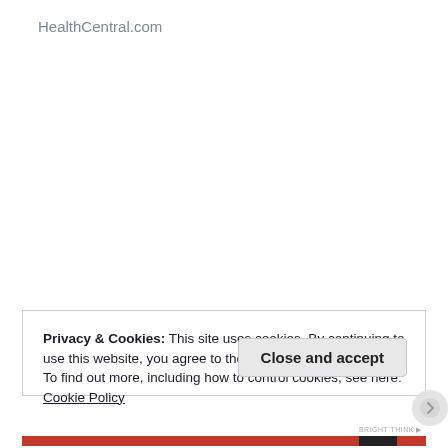HealthCentral.com
Privacy & Cookies: This site uses cookies. By continuing to use this website, you agree to their use.
To find out more, including how to control cookies, see here:
Cookie Policy
Close and accept